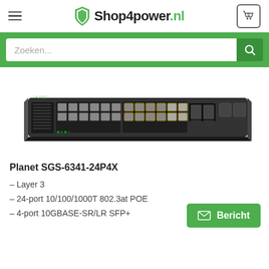Shop4power.nl
[Figure (screenshot): Search bar with green background and magnifying glass icon, text 'Zoeken...']
[Figure (photo): Planet SGS-6341-24P4X network switch with multiple ethernet ports, SFP+ ports, viewed from the front at an angle.]
Planet SGS-6341-24P4X
– Layer 3
– 24-port 10/100/1000T 802.3at POE
– 4-port 10GBASE-SR/LR SFP+